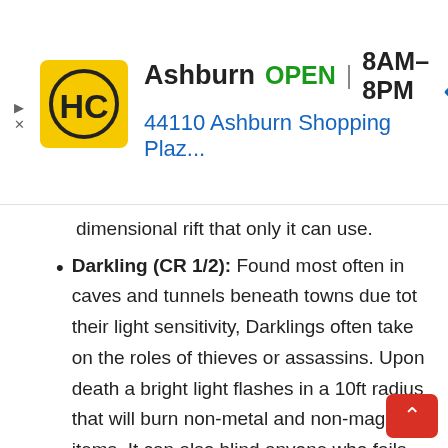[Figure (screenshot): Advertisement banner for HC (Hardware store) in Ashburn. Shows logo (yellow square with HC in black), business name 'Ashburn', green 'OPEN' label, hours '8AM-8PM', address '44110 Ashburn Shopping Plaz...', and a blue diamond navigation icon. Small sponsored triangles and X on left.]
dimensional rift that only it can use.
Darkling (CR 1/2): Found most often in caves and tunnels beneath towns due tot their light sensitivity, Darklings often take on the roles of thieves or assassins. Upon death a bright light flashes in a 10ft radius that will burn non-metal and non-magical items. It can also blind anyone who fails their Constitution saving throw.
Quickling (CR 1): As the name suggests, Quicklings move fast. Attacks against them have disadvantage unless they're incapacit[ated] or restrained. Luckily they're more into pranks